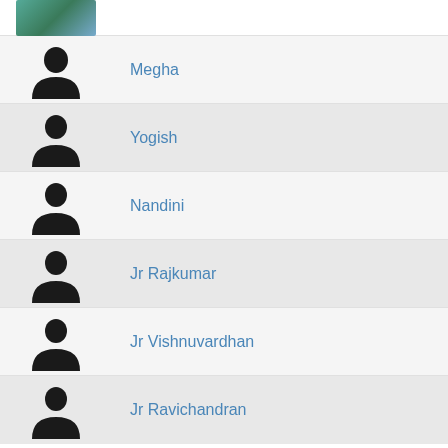[Figure (photo): Partial photo of a person at the top row, cropped]
Megha
Yogish
Nandini
Jr Rajkumar
Jr Vishnuvardhan
Jr Ravichandran